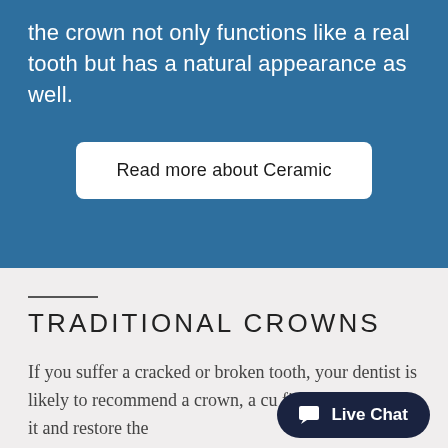the crown not only functions like a real tooth but has a natural appearance as well.
Read more about Ceramic
TRADITIONAL CROWNS
If you suffer a cracked or broken tooth, your dentist is likely to recommend a crown, a cu fitted cap, to cover it and restore the